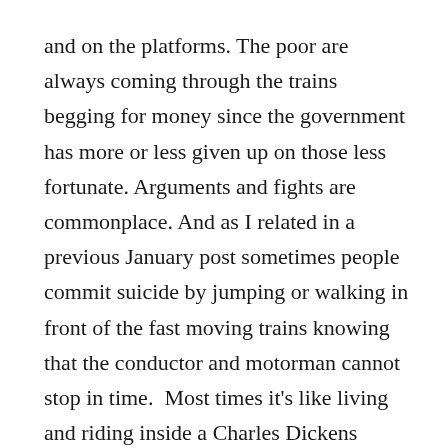and on the platforms. The poor are always coming through the trains begging for money since the government has more or less given up on those less fortunate. Arguments and fights are commonplace. And as I related in a previous January post sometimes people commit suicide by jumping or walking in front of the fast moving trains knowing that the conductor and motorman cannot stop in time.  Most times it's like living and riding inside a Charles Dickens novel. The tracks need to be replaced and the signal and switching systems goes out on a regular basis. You may or may not reach your destination. I leave my house two hours ahead of time to get to work.
I suppose the only thing good that I can say about the